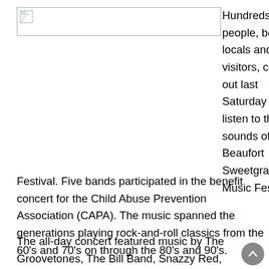[Figure (photo): Broken/placeholder image icon in top-left area of page]
Hundreds of people, both locals and visitors, came out last Saturday to listen to the sounds of the Beaufort Sweetgrass Music Festival. Five bands participated in the benefit concert for the Child Abuse Prevention Association (CAPA). The music spanned the generations playing rock-and-roll classics from the 60's and 70's on through the 80's and 90's.
The all-day concert featured music by The Groovetones, The Bill Band, Snazzy Red, Brandon Hage, Eric Daubert, and